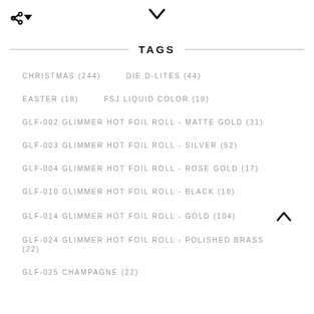TAGS
CHRISTMAS (244)
DIE D-LITES (44)
EASTER (18)
FSJ LIQUID COLOR (18)
GLF-002 GLIMMER HOT FOIL ROLL - MATTE GOLD (31)
GLF-003 GLIMMER HOT FOIL ROLL - SILVER (52)
GLF-004 GLIMMER HOT FOIL ROLL - ROSE GOLD (17)
GLF-010 GLIMMER HOT FOIL ROLL - BLACK (18)
GLF-014 GLIMMER HOT FOIL ROLL - GOLD (104)
GLF-024 GLIMMER HOT FOIL ROLL - POLISHED BRASS (22)
GLF-025 CHAMPAGNE (22)